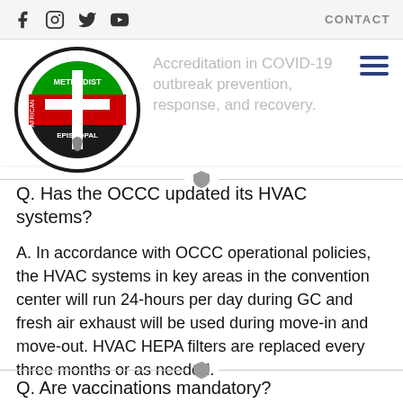Social icons (Facebook, Instagram, Twitter, YouTube) and CONTACT link
[Figure (logo): African Methodist Episcopal church shield logo with red/green/black colors and cross]
Accreditation in COVID-19 outbreak prevention, response, and recovery.
Q. Has the OCCC updated its HVAC systems?
A. In accordance with OCCC operational policies, the HVAC systems in key areas in the convention center will run 24-hours per day during GC and fresh air exhaust will be used during move-in and move-out. HVAC HEPA filters are replaced every three months or as needed.
Q. Are vaccinations mandatory?